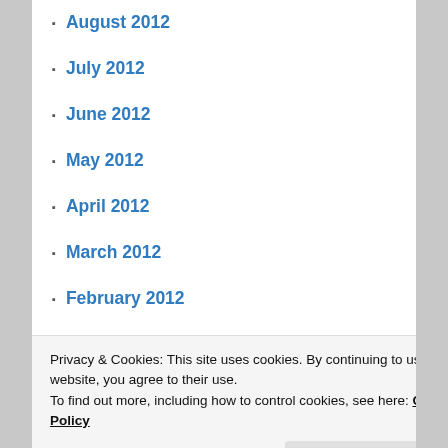August 2012
July 2012
June 2012
May 2012
April 2012
March 2012
February 2012
January 2012
December 2011
November 2011
October 2011
September 2011
August 2011
July 2011
Privacy & Cookies: This site uses cookies. By continuing to use this website, you agree to their use. To find out more, including how to control cookies, see here: Cookie Policy
December 2010